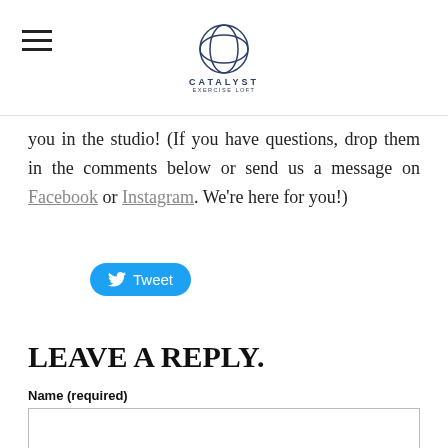CATALYST
you in the studio! (If you have questions, drop them in the comments below or send us a message on Facebook or Instagram. We're here for you!)
[Figure (other): Tweet button with Twitter bird icon]
LEAVE A REPLY.
Name (required)
Email (not published)